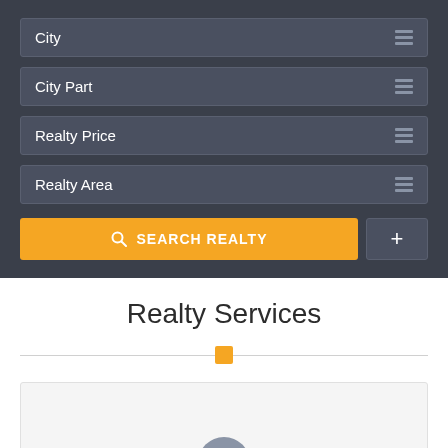City
City Part
Realty Price
Realty Area
SEARCH REALTY
Realty Services
[Figure (screenshot): A card placeholder area with a partially visible circular user avatar at the bottom center]
[Figure (other): reCAPTCHA widget overlay showing the recaptcha logo and Privacy - Terms text]